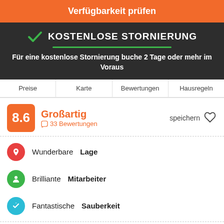Verfügbarkeit prüfen
KOSTENLOSE STORNIERUNG
Für eine kostenlose Stornierung buche 2 Tage oder mehr im Voraus
Preise
Karte
Bewertungen
Hausregeln
8.6
Großartig
33 Bewertungen
speichern
Wunderbare Lage
Brilliante Mitarbeiter
Fantastische Sauberkeit
Im ungefähr 10 Minuten können Sie bis zum Bologna Zentrum - Piazza Maggiore, die zwei Türme, Indipendenza Allee -spazieren gehen. Wenn